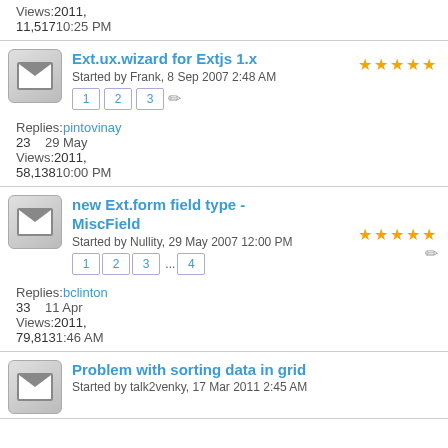Views: 11,517
10:25 PM
Ext.ux.wizard for Extjs 1.x
Started by Frank, 8 Sep 2007 2:48 AM
Replies: pintovinay
23    29 May
Views: 58,138
10:00 PM
new Ext.form field type - MiscField
Started by Nullity, 29 May 2007 12:00 PM
Replies: bclinton
33    11 Apr
Views: 79,813
1:46 AM
Problem with sorting data in grid
Started by talk2venky, 17 Mar 2011 2:45 AM